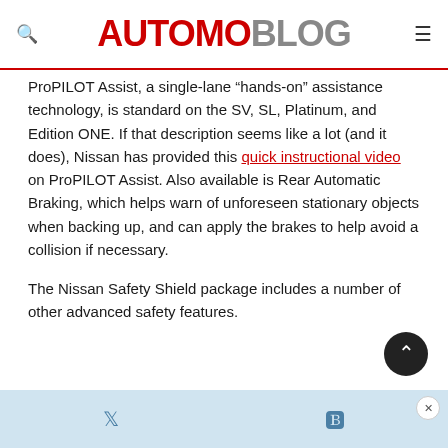AUTOMOBLOG
ProPILOT Assist, a single-lane “hands-on” assistance technology, is standard on the SV, SL, Platinum, and Edition ONE. If that description seems like a lot (and it does), Nissan has provided this quick instructional video on ProPILOT Assist. Also available is Rear Automatic Braking, which helps warn of unforeseen stationary objects when backing up, and can apply the brakes to help avoid a collision if necessary.
The Nissan Safety Shield package includes a number of other advanced safety features.